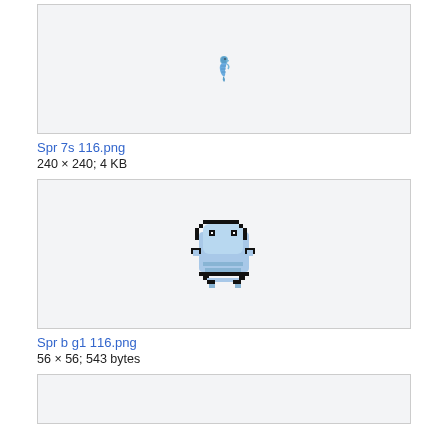[Figure (photo): Small pixel art seahorse sprite centered in a light gray bordered box]
Spr 7s 116.png
240 × 240; 4 KB
[Figure (photo): Pixel art monster/creature sprite (blue, chunky, game-boy style) centered in a light gray bordered box]
Spr b g1 116.png
56 × 56; 543 bytes
[Figure (photo): Partially visible light gray bordered box at bottom of page]